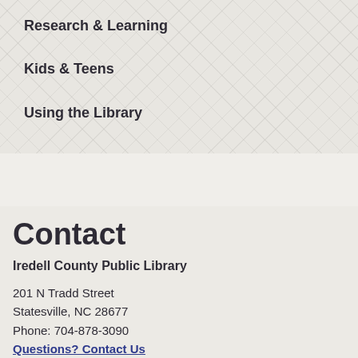Research & Learning
Kids & Teens
Using the Library
Contact
Iredell County Public Library
201 N Tradd Street
Statesville, NC 28677
Phone: 704-878-3090
Questions? Contact Us